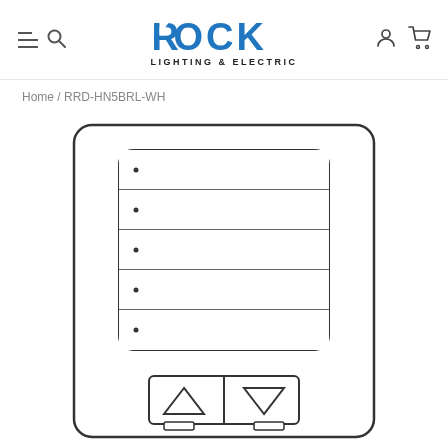Rock Lighting & Electric – Navigation header with hamburger, search, logo, account, and cart icons
Home / RRD-HN5BRL-WH
[Figure (engineering-diagram): Line drawing of a Lutron 5-button lighting control keypad (RRD-HN5BRL-WH) mounted on a rectangular wall plate. The keypad shows 5 horizontal scene buttons each with a small LED dot on the left, and at the bottom a rocker dimmer bar with a down-triangle (dim) button on the left and an up-triangle (brighten) button on the right.]